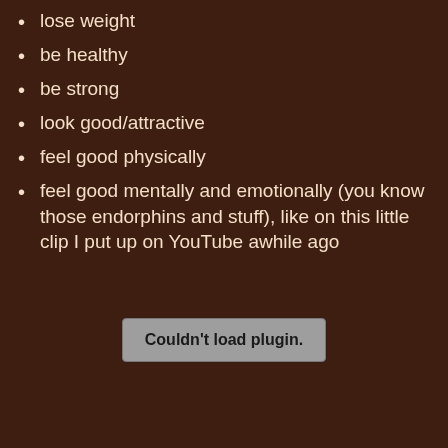lose weight
be healthy
be strong
look good/attractive
feel good physically
feel good mentally and emotionally (you know those endorphins and stuff), like on this little clip I put up on YouTube awhile ago
[Figure (other): Embedded video plugin placeholder showing 'Couldn't load plugin.']